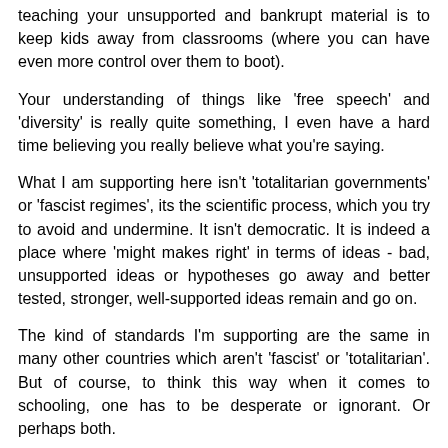teaching your unsupported and bankrupt material is to keep kids away from classrooms (where you can have even more control over them to boot).
Your understanding of things like 'free speech' and 'diversity' is really quite something, I even have a hard time believing you really believe what you're saying.
What I am supporting here isn't 'totalitarian governments' or 'fascist regimes', its the scientific process, which you try to avoid and undermine. It isn't democratic. It is indeed a place where 'might makes right' in terms of ideas - bad, unsupported ideas or hypotheses go away and better tested, stronger, well-supported ideas remain and go on.
The kind of standards I'm supporting are the same in many other countries which aren't 'fascist' or 'totalitarian'. But of course, to think this way when it comes to schooling, one has to be desperate or ignorant. Or perhaps both.
To try and argue otherwise with phony pleas of 'free speech' is, well, I'll refrain and leave it to others to judge for